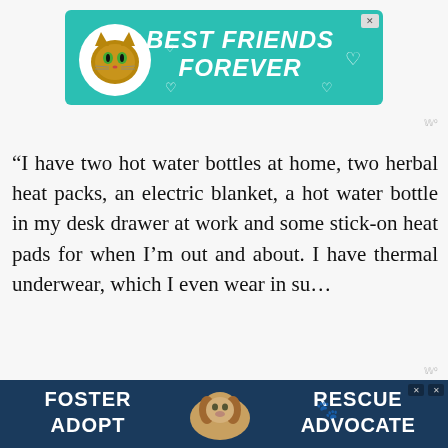[Figure (illustration): Advertisement banner with teal background showing a cat and text 'BEST FRIENDS FOREVER' in bold italic white text with heart icons]
“I have two hot water bottles at home, two herbal heat packs, an electric blanket, a hot water bottle in my desk drawer at work and some stick-on heat pads for when I’m out and about. I have thermal underwear, which I even wear in su...
[Figure (illustration): Advertisement banner with dark blue background showing a dog and text 'FOSTER ADOPT' and 'RESCUE ADVOCATE']